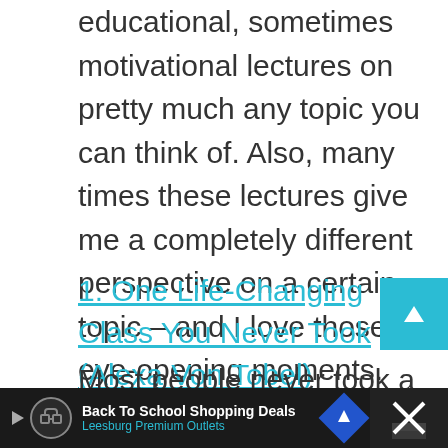educational, sometimes motivational lectures on pretty much any topic you can think of. Also, many times these lectures give me a completely different perspective on a certain topic – and I love those eye-opening moments. TED Talks about personal finance are some of my favorite. Here's a list of my top 5!
1. One Life-Changing Class You Never Took (Alexa Von Tobel)
Most people never took a personal finance
[Figure (other): Advertisement banner: Back To School Shopping Deals - Leesburg Premium Outlets, with play button, logo, navigation arrow, and close button on dark background]